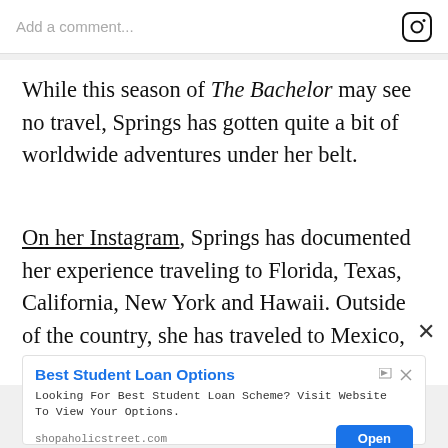Add a comment...
While this season of The Bachelor may see no travel, Springs has gotten quite a bit of worldwide adventures under her belt.
On her Instagram, Springs has documented her experience traveling to Florida, Texas, California, New York and Hawaii. Outside of the country, she has traveled to Mexico, Slovenia, Croatia, England,
[Figure (infographic): Advertisement banner for Best Student Loan Options from shopaholicstreet.com with an Open button]
Best Student Loan Options. Looking For Best Student Loan Scheme? Visit Website To View Your Options. shopaholicstreet.com